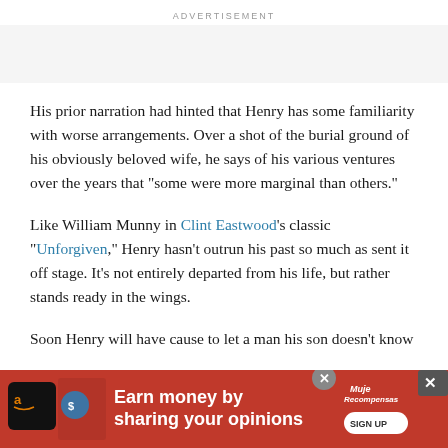ADVERTISEMENT
His prior narration had hinted that Henry has some familiarity with worse arrangements. Over a shot of the burial ground of his obviously beloved wife, he says of his various ventures over the years that “some were more marginal than others.”
Like William Munny in Clint Eastwood’s classic “Unforgiven,” Henry hasn't outrun his past so much as sent it off stage. It’s not entirely departed from his life, but rather stands ready in the wings.
Soon Henry will have cause to let a man his son doesn’t know
[Figure (infographic): Advertisement banner: red background with Amazon logo icon, text 'Earn money by sharing your opinions', MujeRecompensas logo, and SIGN UP button. Close buttons visible (circle X and square X).]